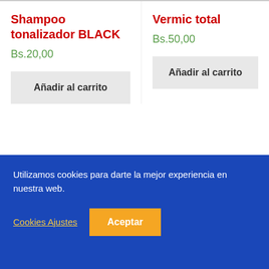Shampoo tonalizador BLACK
Bs.20,00
Añadir al carrito
Vermic total
Bs.50,00
Añadir al carrito
Me gusta 0
Compartir
ESITO
Utilizamos cookies para darte la mejor experiencia en nuestra web.
Cookies Ajustes
Aceptar